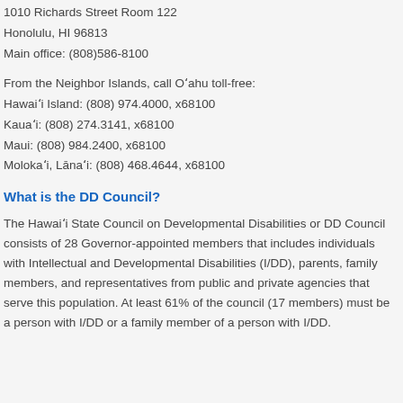1010 Richards Street Room 122
Honolulu, HI 96813
Main office: (808)586-8100
From the Neighbor Islands, call Oʻahu toll-free:
Hawaiʻi Island: (808) 974.4000, x68100
Kauaʻi: (808) 274.3141, x68100
Maui: (808) 984.2400, x68100
Molokaʻi, Lānaʻi: (808) 468.4644, x68100
What is the DD Council?
The Hawaiʻi State Council on Developmental Disabilities or DD Council consists of 28 Governor-appointed members that includes individuals with Intellectual and Developmental Disabilities (I/DD), parents, family members, and representatives from public and private agencies that serve this population. At least 61% of the council (17 members) must be a person with I/DD or a family member of a person with I/DD.